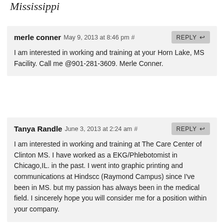Mississippi
merle conner May 9, 2013 at 8:46 pm #
I am interested in working and training at your Horn Lake, MS Facility. Call me @901-281-3609. Merle Conner.
Tanya Randle June 3, 2013 at 2:24 am #
I am interested in working and training at The Care Center of Clinton MS. I have worked as a EKG/Phlebotomist in Chicago,IL. in the past. I went into graphic printing and communications at Hindscc (Raymond Campus) since I’ve been in MS. but my passion has always been in the medical field. I sincerely hope you will consider me for a position within your company.